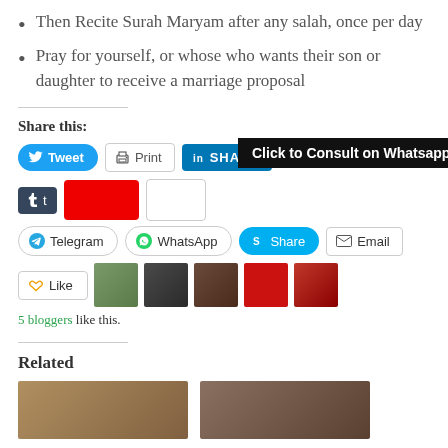Then Recite Surah Maryam after any salah, once per day
Pray for yourself, or whose who wants their son or daughter to receive a marriage proposal
Share this:
[Figure (screenshot): Social share buttons: Tweet, Print, LinkedIn Share, Tumblr, and a 'Click to Consult on Whatsapp' overlay banner]
[Figure (screenshot): Second row of share buttons: Telegram, WhatsApp, Skype Share, Email]
[Figure (screenshot): Like button and 5 blogger avatar thumbnails]
5 bloggers like this.
Related
[Figure (photo): Two related article thumbnail images]